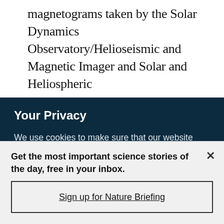magnetograms taken by the Solar Dynamics Observatory/Helioseismic and Magnetic Imager and Solar and Heliospheric
Your Privacy
We use cookies to make sure that our website works properly, as well as some 'optional' cookies to personalise content and advertising, provide social media features and analyse how people use our site. By accepting some or all optional cookies you give consent to the processing of your personal data, including transfer to third parties, some in countries outside of the European Economic Area that do not offer the same data protection standards as the country where you live. You can decide which optional cookies to accept by clicking on 'Manage Settings', where you can
Get the most important science stories of the day, free in your inbox.
Sign up for Nature Briefing